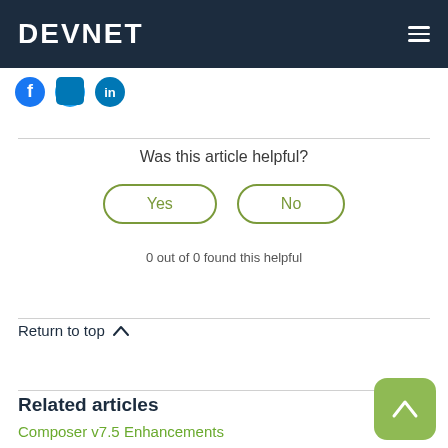DEVNET
[Figure (logo): Social media icons: Facebook, Twitter, LinkedIn]
Was this article helpful?
Yes
No
0 out of 0 found this helpful
Return to top ∧
Related articles
Composer v7.5 Enhancements